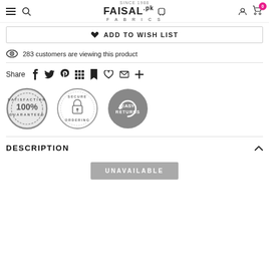Faisal Fabrics — navigation header with logo, hamburger menu, search, user icon, and cart (0)
ADD TO WISH LIST
283 customers are viewing this product
Share
[Figure (infographic): Three trust badges: 100% Satisfaction Guaranteed (circle badge), Secure Ordering (padlock circle badge), Easy Returns (circular arrow badge)]
DESCRIPTION
UNAVAILABLE